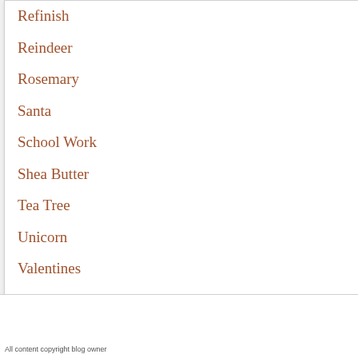Refinish
Reindeer
Rosemary
Santa
School Work
Shea Butter
Tea Tree
Unicorn
Valentines
RSS Feed
All content copyright blog owner